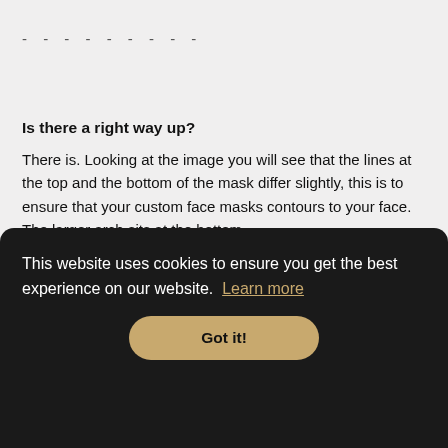- - - - - - - - -
Is there a right way up?
There is. Looking at the image you will see that the lines at the top and the bottom of the mask differ slightly, this is to ensure that your custom face masks contours to your face. The larger arch sits at the bottom.
-
This website uses cookies to ensure you get the best experience on our website. Learn more
Got it!
Unfortunately not at this time. Due to high demand my supplier